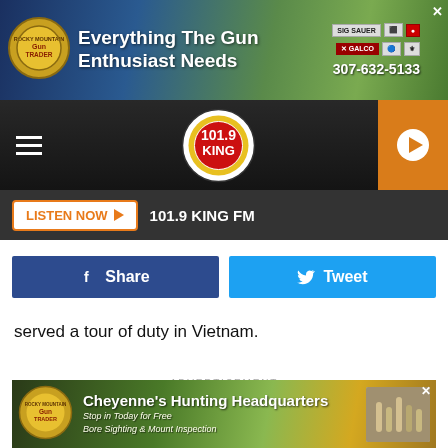[Figure (screenshot): Top banner ad for Rocky Mountain Gun Trader: 'Everything The Gun Enthusiast Needs' with phone 307-632-5133 and brand logos]
[Figure (screenshot): Navigation bar with hamburger menu, 101.9 KING FM logo, and orange play button]
[Figure (screenshot): Listen Now button bar showing '101.9 KING FM']
[Figure (screenshot): Social sharing buttons: Facebook Share and Twitter Tweet]
served a tour of duty in Vietnam.
ADVERTISEMENT
[Figure (screenshot): Bottom banner ad for Rocky Mountain Gun Trader: Cheyenne's Hunting Headquarters, Stop in Today for Free Bore Sighting & Mount Inspection]